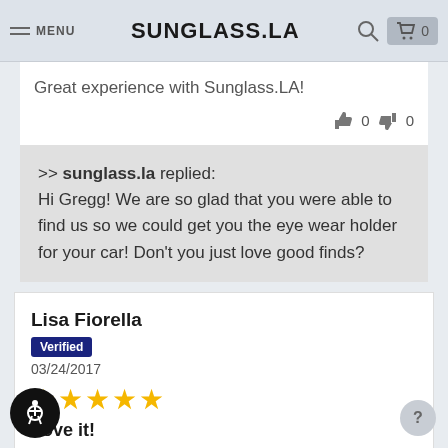MENU | SUNGLASS.LA | [search] [cart 0]
Great experience with Sunglass.LA!
👍 0  👎 0
>> sunglass.la replied: Hi Gregg! We are so glad that you were able to find us so we could get you the eye wear holder for your car! Don't you just love good finds?
Lisa Fiorella
Verified
03/24/2017
★★★★★
Love it!